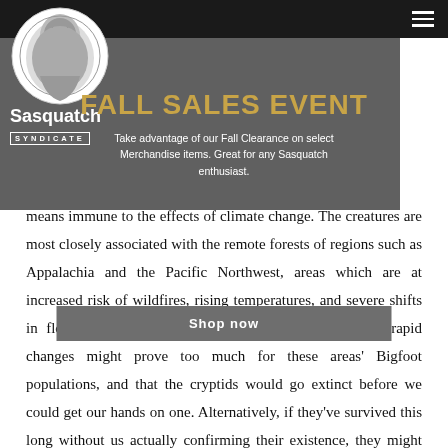Sasquatch Syndicate – navigation bar with hamburger menu
[Figure (logo): Sasquatch Syndicate logo: circular illustration of a sasquatch figure with the text 'Sasquatch' in large bold letters and 'SYNDICATE' in a bordered box beneath]
FALL SALES EVENT
Take advantage of our Fall Clearance on select Merchandise items. Great for any Sasquatch enthusiast.
Shop now
means immune to the effects of climate change. The creatures are most closely associated with the remote forests of regions such as Appalachia and the Pacific Northwest, areas which are at increased risk of wildfires, rising temperatures, and severe shifts in flora and fauna populations. It's possible that these rapid changes might prove too much for these areas' Bigfoot populations, and that the cryptids would go extinct before we could get our hands on one. Alternatively, if they've survived this long without us actually confirming their existence, they might just be resilient enough to make it through our looming